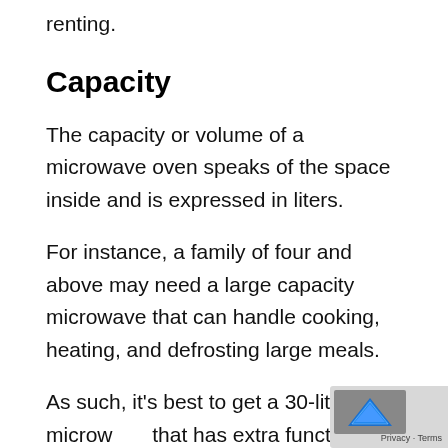renting.
Capacity
The capacity or volume of a microwave oven speaks of the space inside and is expressed in liters.
For instance, a family of four and above may need a large capacity microwave that can handle cooking, heating, and defrosting large meals.
As such, it's best to get a 30-liter microwave that has extra functions (baking, grill